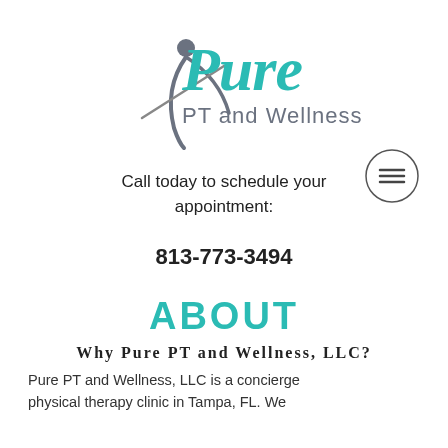[Figure (logo): Pure PT and Wellness logo with teal scripted 'Pure' text and gray figure, with 'PT and Wellness' below in gray sans-serif]
[Figure (illustration): Hamburger/menu icon inside a circle on the right side]
Call today to schedule your appointment:
813-773-3494
ABOUT
Why Pure PT and Wellness, LLC?
Pure PT and Wellness, LLC is a concierge physical therapy clinic in Tampa, FL. We